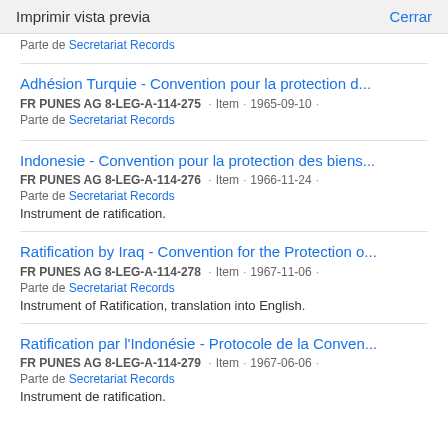Imprimir vista previa   Cerrar
Parte de Secretariat Records
Adhésion Turquie - Convention pour la protection d...
FR PUNES AG 8-LEG-A-114-275 · Item · 1965-09-10 ·
Parte de Secretariat Records
Indonesie - Convention pour la protection des biens...
FR PUNES AG 8-LEG-A-114-276 · Item · 1966-11-24 ·
Parte de Secretariat Records
Instrument de ratification.
Ratification by Iraq - Convention for the Protection o...
FR PUNES AG 8-LEG-A-114-278 · Item · 1967-11-06 ·
Parte de Secretariat Records
Instrument of Ratification, translation into English.
Ratification par l'Indonésie - Protocole de la Conven...
FR PUNES AG 8-LEG-A-114-279 · Item · 1967-06-06 ·
Parte de Secretariat Records
Instrument de ratification.